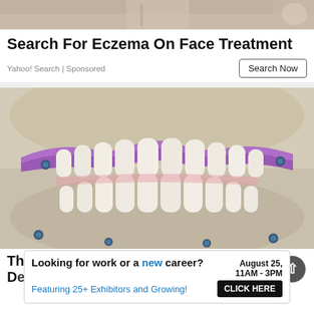[Figure (photo): Top portion of a photo showing a person's hands, cropped at top of page]
Search For Eczema On Face Treatment
Yahoo! Search | Sponsored
Search Now
[Figure (photo): Close-up photograph of a dental implant model showing upper and lower teeth with purple/violet gum-colored material and metal implant screws visible]
The Actual Cost of One Day Full Mouth Dental
Looking for work or a new career? August 25, 11AM - 3PM Featuring 25+ Exhibitors and Growing! CLICK HERE